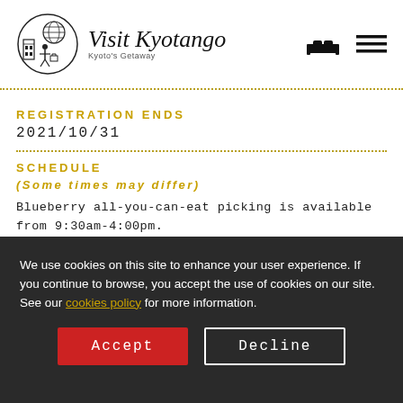[Figure (logo): Visit Kyotango logo with illustrated figure and text 'Visit Kyotango — Kyoto's Getaway']
REGISTRATION ENDS
2021/10/31
SCHEDULE
(Some times may differ)
Blueberry all-you-can-eat picking is available from 9:30am-4:00pm.
We use cookies on this site to enhance your user experience. If you continue to browse, you accept the use of cookies on our site. See our cookies policy for more information.